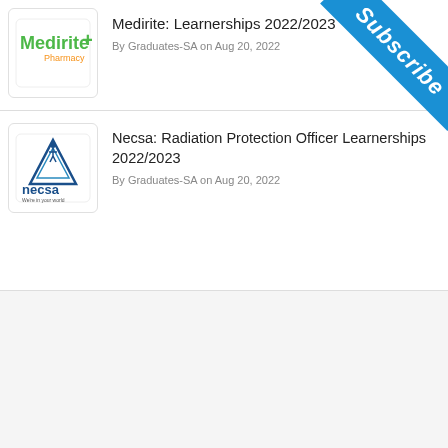[Figure (logo): Medirite+ Pharmacy logo in green and orange]
Medirite: Learnerships 2022/2023
By Graduates-SA on Aug 20, 2022
[Figure (logo): NECSA logo — blue triangle icon with text 'necsa' and tagline 'We're in your world']
Necsa: Radiation Protection Officer Learnerships 2022/2023
By Graduates-SA on Aug 20, 2022
[Figure (illustration): Blue diagonal Subscribe ribbon in top-right corner]